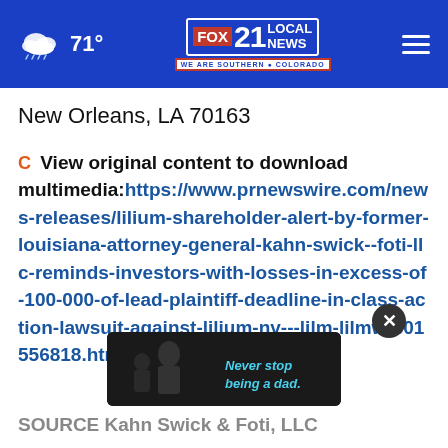71° FOX 21 LOCAL NEWS WE ARE SOUTHERN COLORADO
New Orleans, LA 70163
View original content to download multimedia: https://www.prnewswire.com/news-releases/lilium-shareholder-alert-by-former-louisiana-attorney-general-kahn-swick--foti-llc-reminds-investors-with-losses-in-excess-of-100-000-of-lead-plaintiff-deadline-in-class-action-lawsuit-against-lilium-nv---lilm-lilmw-301556818.html
[Figure (photo): Advertisement overlay showing a man with a child, text reads Never stop being a dad.]
SOURCE Kahn Swick & Foti, LLC